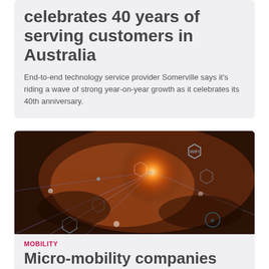celebrates 40 years of serving customers in Australia
End-to-end technology service provider Somerville says it's riding a wave of strong year-on-year growth as it celebrates its 40th anniversary.
[Figure (photo): Hands typing on a laptop keyboard with glowing digital technology icons and connectivity symbols overlaid, including WiFi, location pin, and various hexagonal tech icons with a bright orange light burst at center.]
MOBILITY
Micro-mobility companies sought